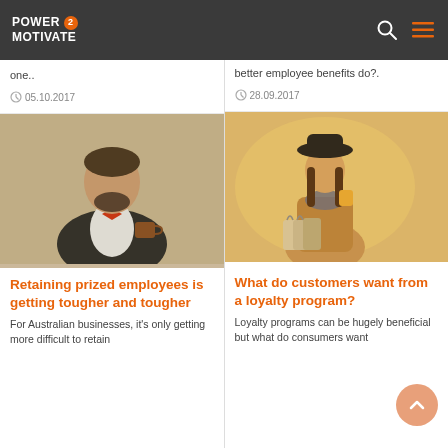POWER 2 MOTIVATE
one..
05.10.2017
better employee benefits do?.
28.09.2017
[Figure (photo): Man in tuxedo with red bow tie holding a coffee mug]
Retaining prized employees is getting tougher and tougher
For Australian businesses, it's only getting more difficult to retain
[Figure (photo): Woman in hat carrying shopping bags and a coffee cup]
What do customers want from a loyalty program?
Loyalty programs can be hugely beneficial but what do consumers want